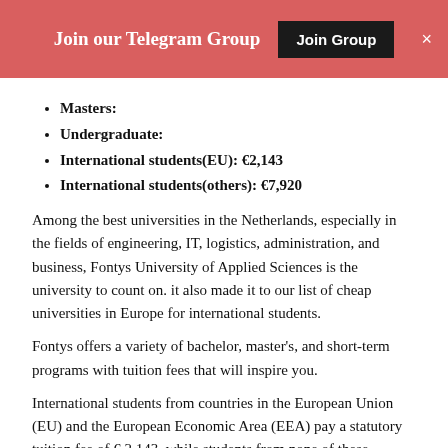Join our Telegram Group  [Join Group]  ×
Masters:
Undergraduate:
International students(EU): €2,143
International students(others): €7,920
Among the best universities in the Netherlands, especially in the fields of engineering, IT, logistics, administration, and business, Fontys University of Applied Sciences is the university to count on. it also made it to our list of cheap universities in Europe for international students.
Fontys offers a variety of bachelor, master's, and short-term programs with tuition fees that will inspire you.
International students from countries in the European Union (EU) and the European Economic Area (EEA) pay a statutory tuition fee of € 2,143, while students from none of these countries pay a tuition